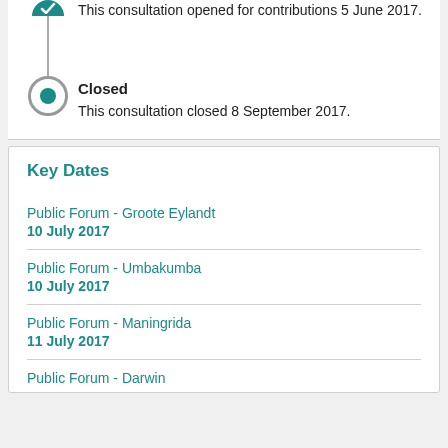This consultation opened for contributions 5 June 2017.
Closed
This consultation closed 8 September 2017.
Key Dates
Public Forum - Groote Eylandt
10 July 2017
Public Forum - Umbakumba
10 July 2017
Public Forum - Maningrida
11 July 2017
Public Forum - Darwin